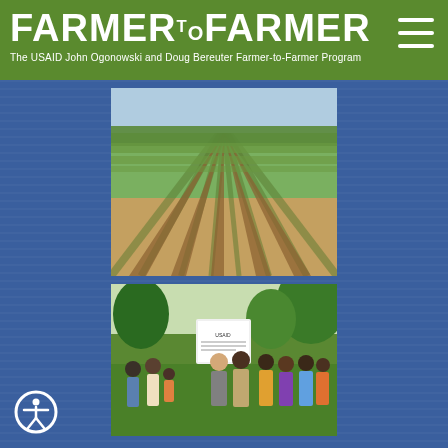FARMER TO FARMER — The USAID John Ogonowski and Doug Bereuter Farmer-to-Farmer Program
[Figure (photo): Aerial view of rows of crops in a field, dark soil visible between green plant rows, stretching to the horizon]
[Figure (photo): Group of people, including African farmers and a volunteer, gathered outdoors on green grass near a sign/banner with USAID logo]